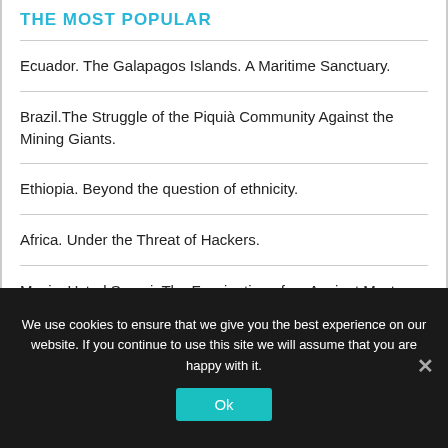THE MOST POPULAR
Ecuador. The Galapagos Islands. A Maritime Sanctuary.
Brazil.The Struggle of the Piquià Community Against the Mining Giants.
Ethiopia. Beyond the question of ethnicity.
Africa. Under the Threat of Hackers.
Music. Ustad Saami. The Fascination of an Ancient Mystery
We use cookies to ensure that we give you the best experience on our website. If you continue to use this site we will assume that you are happy with it.